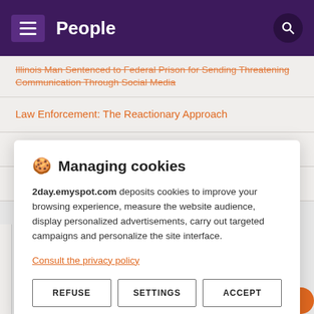People
Illinois Man Sentenced to Federal Prison for Sending Threatening Communication Through Social Media
Law Enforcement: The Reactionary Approach
Forgiveness of Sins
Fear God, Not People by Prof.Sabitu Olagoke
🍪 Managing cookies
2day.emyspot.com deposits cookies to improve your browsing experience, measure the website audience, display personalized advertisements, carry out targeted campaigns and personalize the site interface.
Consult the privacy policy
REFUSE | SETTINGS | ACCEPT